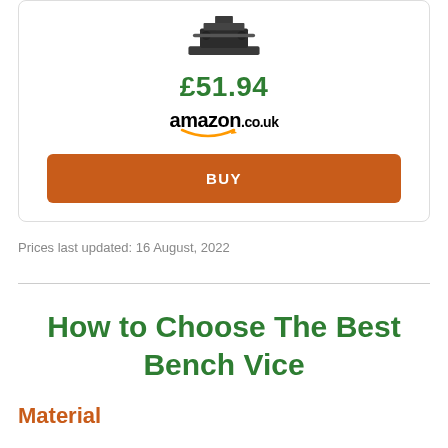[Figure (photo): Partial view of a bench vice product image at the top of a product card]
£51.94
[Figure (logo): amazon.co.uk logo with smile arrow]
BUY
Prices last updated: 16 August, 2022
How to Choose The Best Bench Vice
Material